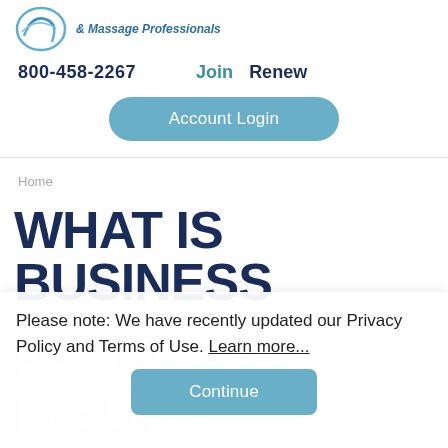[Figure (logo): Blue swirl logo for massage/spa professionals association with text '& Massage Professionals']
800-458-2267    Join    Renew
[Figure (other): Account Login button - rounded teal/blue button]
Home
WHAT IS BUSINESS PERSONAL PROPERTY INSURANCE
Please note: We have recently updated our Privacy Policy and Terms of Use. Learn more...
[Figure (other): Continue button - teal/blue rounded rectangle button]